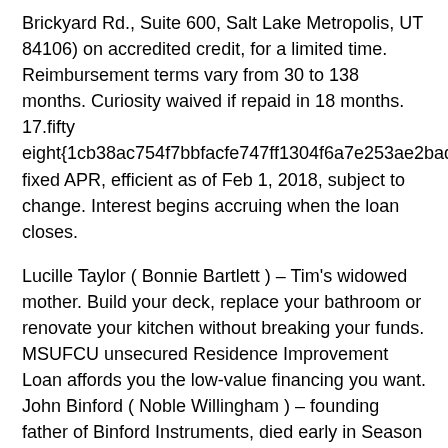Brickyard Rd., Suite 600, Salt Lake Metropolis, UT 84106) on accredited credit, for a limited time. Reimbursement terms vary from 30 to 138 months. Curiosity waived if repaid in 18 months. 17.fifty eight{1cb38ac754f7bbfacfe747ff1304f6a7e253ae2badab5b4010a9c89efe5a5163} fixed APR, efficient as of Feb 1, 2018, subject to change. Interest begins accruing when the loan closes.
Lucille Taylor ( Bonnie Bartlett ) – Tim's widowed mother. Build your deck, replace your bathroom or renovate your kitchen without breaking your funds. MSUFCU unsecured Residence Improvement Loan affords you the low-value financing you want. John Binford ( Noble Willingham ) – founding father of Binford Instruments, died early in Season three.
Our status and high-high quality craftsmanship communicate for themselves. But so do our satisfied purchasers! Take a while to learn how we have helped our local purchasers in